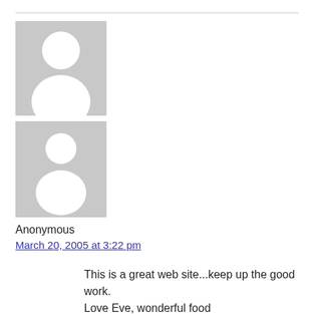[Figure (illustration): Two stacked anonymous user avatar placeholder images on a grey background, each showing a silhouette of a person (circle head and rounded torso) in white on grey.]
Anonymous
March 20, 2005 at 3:22 pm
This is a great web site...keep up the good work.
Love Eve, wonderful food